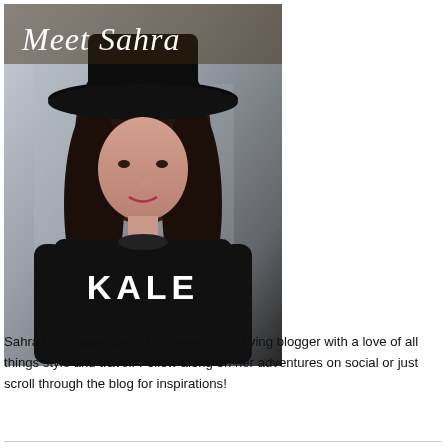[Figure (photo): Photo of Sahra, a young woman wearing a black wide-brim hat and a black 'KALE' sweatshirt, with the overlay text 'Meet Sahra' in cursive script at the top of the image.]
Sahra is a Boston born, NYC raised, DC living blogger with a love of all things style and travel. Follow along on her adventures on social or just scroll through the blog for inspirations!